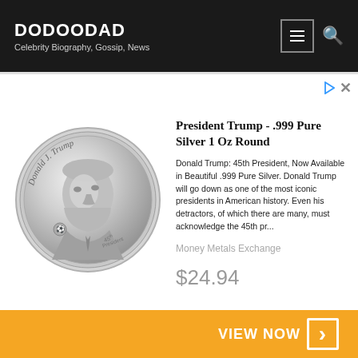DODOODAD — Celebrity Biography, Gossip, News
[Figure (screenshot): Advertisement banner with a silver coin featuring Donald J. Trump profile, product title 'President Trump - .999 Pure Silver 1 Oz Round', description text, seller 'Money Metals Exchange', price '$24.94', and a 'VIEW NOW' orange call-to-action button.]
President Trump - .999 Pure Silver 1 Oz Round
Donald Trump: 45th President, Now Available in Beautiful .999 Pure Silver. Donald Trump will go down as one of the most iconic presidents in American history. Even his detractors, of which there are many, must acknowledge the 45th pr...
Money Metals Exchange
$24.94
VIEW NOW